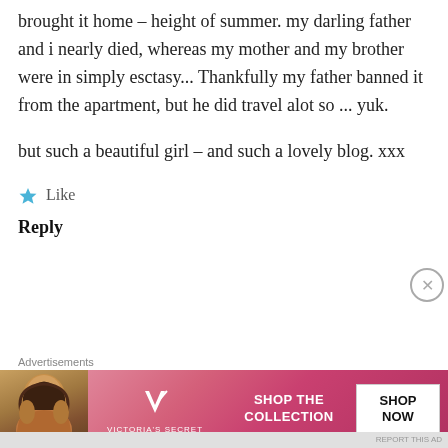brought it home – height of summer. my darling father and i nearly died, whereas my mother and my brother were in simply esctasy... Thankfully my father banned it from the apartment, but he did travel alot so ... yuk.
but such a beautiful girl – and such a lovely blog. xxx
★ Like
Reply
Advertisements
[Figure (other): Victoria's Secret advertisement banner showing a model, the VS logo, 'SHOP THE COLLECTION' text, and a 'SHOP NOW' button]